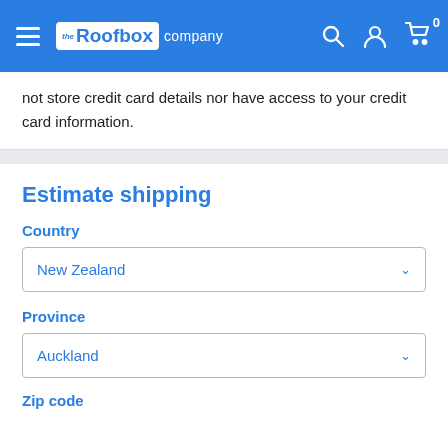the Roofbox company
not store credit card details nor have access to your credit card information.
Estimate shipping
Country
New Zealand
Province
Auckland
Zip code